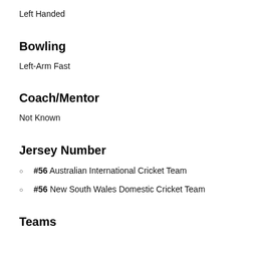Left Handed
Bowling
Left-Arm Fast
Coach/Mentor
Not Known
Jersey Number
#56 Australian International Cricket Team
#56 New South Wales Domestic Cricket Team
Teams